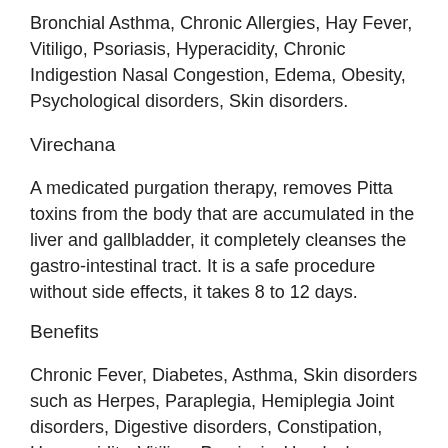Bronchial Asthma, Chronic Allergies, Hay Fever, Vitiligo, Psoriasis, Hyperacidity, Chronic Indigestion Nasal Congestion, Edema, Obesity, Psychological disorders, Skin disorders.
Virechana
A medicated purgation therapy, removes Pitta toxins from the body that are accumulated in the liver and gallbladder, it completely cleanses the gastro-intestinal tract. It is a safe procedure without side effects, it takes 8 to 12 days.
Benefits
Chronic Fever, Diabetes, Asthma, Skin disorders such as Herpes, Paraplegia, Hemiplegia Joint disorders, Digestive disorders, Constipation, Hyperacidity, Vitiligo, Psoriasis, Headaches, Elephantiasis, Gynecological